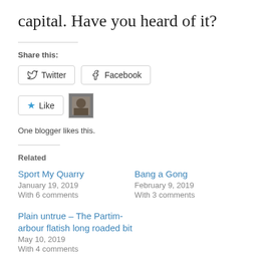capital. Have you heard of it?
Share this:
Twitter  Facebook
[Figure (other): Like button with star icon and avatar thumbnail of a blogger]
One blogger likes this.
Related
Sport My Quarry
January 19, 2019
With 6 comments
Bang a Gong
February 9, 2019
With 3 comments
Plain untrue – The Partim-arbour flatish long roaded bit
May 10, 2019
With 4 comments